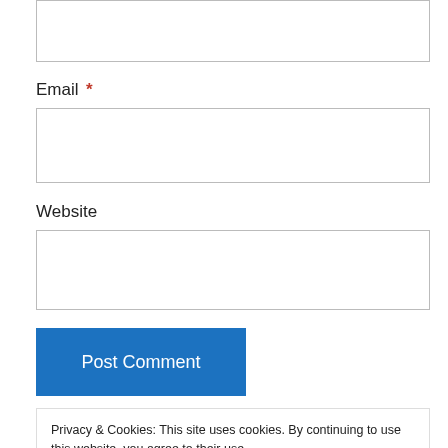(top input box — partial)
Email *
Website
Post Comment
Privacy & Cookies: This site uses cookies. By continuing to use this website, you agree to their use. To find out more, including how to control cookies, see here: Our Cookie Policy
Close and accept
comment data is processed.